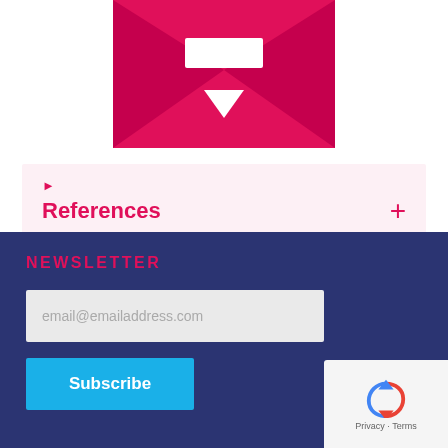[Figure (illustration): Pink/magenta banner with a stylized envelope or download icon in white — triangular arrows and rectangle shape on pink background.]
References
NEWSLETTER
email@emailaddress.com
Subscribe
[Figure (logo): Google reCAPTCHA widget showing circular arrow icon with 'Privacy · Terms' text below.]